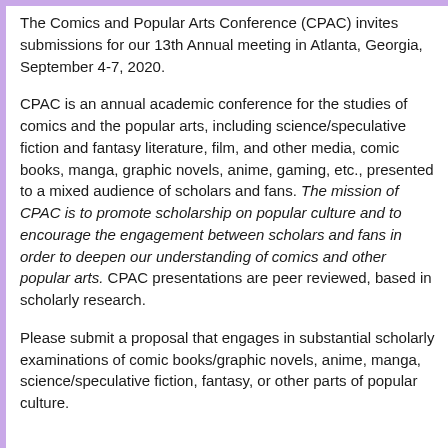The Comics and Popular Arts Conference (CPAC) invites submissions for our 13th Annual meeting in Atlanta, Georgia, September 4-7, 2020.
CPAC is an annual academic conference for the studies of comics and the popular arts, including science/speculative fiction and fantasy literature, film, and other media, comic books, manga, graphic novels, anime, gaming, etc., presented to a mixed audience of scholars and fans. The mission of CPAC is to promote scholarship on popular culture and to encourage the engagement between scholars and fans in order to deepen our understanding of comics and other popular arts. CPAC presentations are peer reviewed, based in scholarly research.
Please submit a proposal that engages in substantial scholarly examinations of comic books/graphic novels, anime, manga, science/speculative fiction, fantasy, or other parts of popular culture.